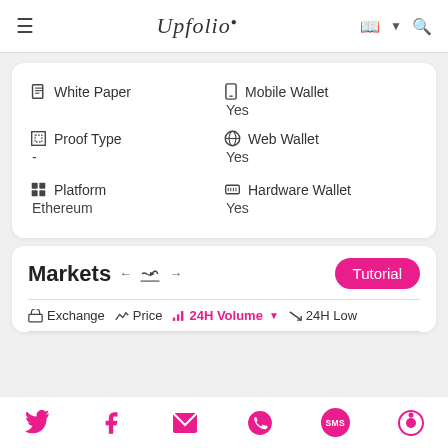Upfolio
| Label | Value | Label | Value |
| --- | --- | --- | --- |
| White Paper |  | Mobile Wallet | Yes |
| Proof Type | - | Web Wallet | Yes |
| Platform | Ethereum | Hardware Wallet | Yes |
Markets
| Exchange | Price | 24H Volume | 24H Low |
| --- | --- | --- | --- |
Social icons: Twitter, Facebook, Email, WhatsApp, SMS, Upfolio